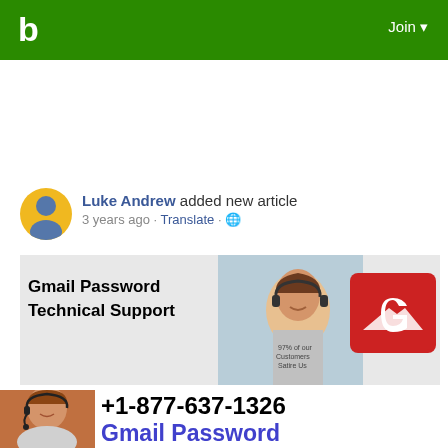b  Join
Luke Andrew added new article
3 years ago - Translate - 🌐
[Figure (screenshot): Gmail Password Technical Support banner with customer service agents wearing headsets and a red Gmail-style logo icon on the right]
[Figure (photo): Woman wearing headset smiling, customer support agent]
+1-877-637-1326
Gmail Password